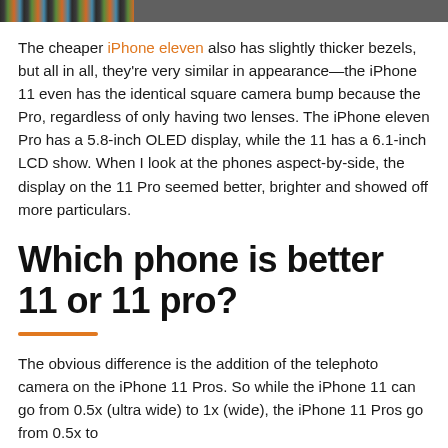[Figure (photo): Partial image strip at top of page showing colorful photo snippet]
The cheaper iPhone eleven also has slightly thicker bezels, but all in all, they're very similar in appearance—the iPhone 11 even has the identical square camera bump because the Pro, regardless of only having two lenses. The iPhone eleven Pro has a 5.8-inch OLED display, while the 11 has a 6.1-inch LCD show. When I look at the phones aspect-by-side, the display on the 11 Pro seemed better, brighter and showed off more particulars.
Which phone is better 11 or 11 pro?
The obvious difference is the addition of the telephoto camera on the iPhone 11 Pros. So while the iPhone 11 can go from 0.5x (ultra wide) to 1x (wide), the iPhone 11 Pros go from 0.5x to